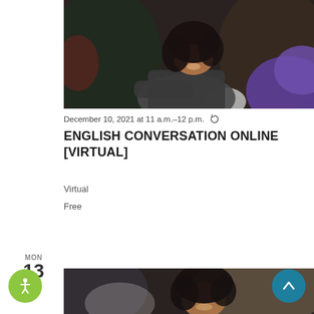[Figure (photo): Two women in a classroom or library setting, one in a dark grey long-sleeve shirt with curly dark hair smiling, another in a purple cardigan visible on the right]
December 10, 2021 at 11 a.m.–12 p.m. ↻
ENGLISH CONVERSATION ONLINE [VIRTUAL]
Virtual
Free
MON
13
[Figure (photo): Woman with long curly dark hair smiling in a blurred indoor setting]